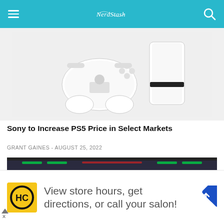NerdStash
[Figure (photo): PS5 console with DualSense controller on white/light grey background]
Sony to Increase PS5 Price in Select Markets
GRANT GAINES - AUGUST 25, 2022
[Figure (photo): Wrestling video game screenshot showing two wrestlers in a ring with crowd in background; UI shows FINISHER and SIGNATURE prompts]
View store hours, get directions, or call your salon!